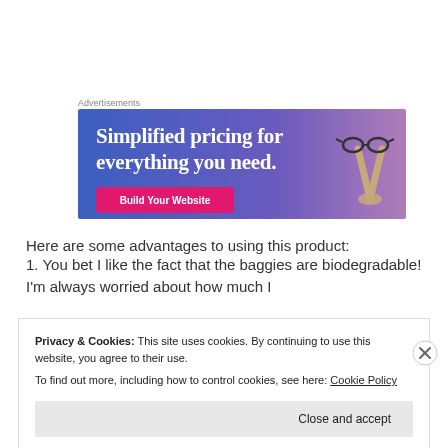Advertisements
[Figure (screenshot): Advertisement banner with gradient blue-to-purple background. Text reads 'Simplified pricing for everything you need.' with a pink 'Build Your Website' button partially visible at the bottom. A hand holding eyeglasses is visible on the right side.]
Here are some advantages to using this product:
1. You bet I like the fact that the baggies are biodegradable! I'm always worried about how much I
Privacy & Cookies: This site uses cookies. By continuing to use this website, you agree to their use.
To find out more, including how to control cookies, see here: Cookie Policy